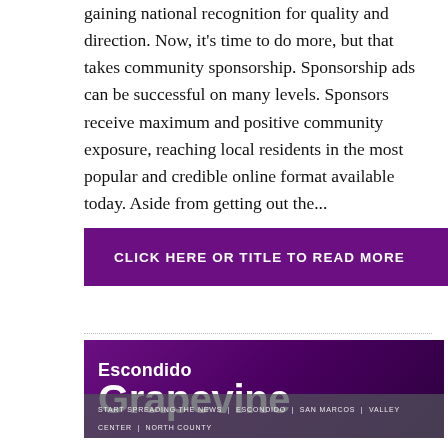gaining national recognition for quality and direction. Now, it's time to do more, but that takes community sponsorship. Sponsorship ads can be successful on many levels. Sponsors receive maximum and positive community exposure, reaching local residents in the most popular and credible online format available today. Aside from getting out the...
CLICK HERE OR TITLE TO READ MORE
[Figure (logo): Escondido Grapevine logo on purple gradient background with tagline: START SPREADING THE NEWS | ESCONDIDO | SAN MARCOS | VALLEY CENTER | NORTH COUNTY]
ADVERTISE   MARCH 15, 2016